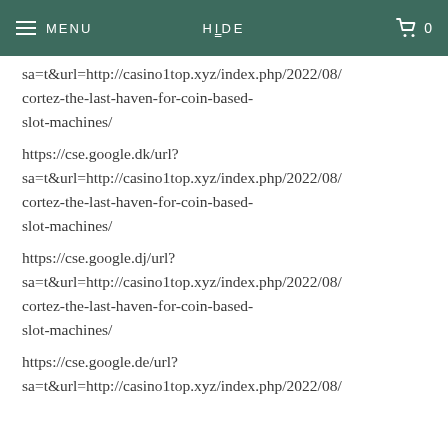MENU | HIDE | 0
sa=t&url=http://casino1top.xyz/index.php/2022/08/cortez-the-last-haven-for-coin-based-slot-machines/
https://cse.google.dk/url?sa=t&url=http://casino1top.xyz/index.php/2022/08/cortez-the-last-haven-for-coin-based-slot-machines/
https://cse.google.dj/url?sa=t&url=http://casino1top.xyz/index.php/2022/08/cortez-the-last-haven-for-coin-based-slot-machines/
https://cse.google.de/url?sa=t&url=http://casino1top.xyz/index.php/2022/08/